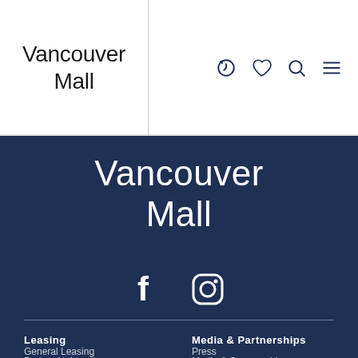Vancouver Mall
Vancouver Mall
[Figure (logo): Facebook and Instagram social media icons in white on dark navy background]
Leasing
Media & Partnerships
General Leasing
Press
Partner Hub
Media & Sponsorship